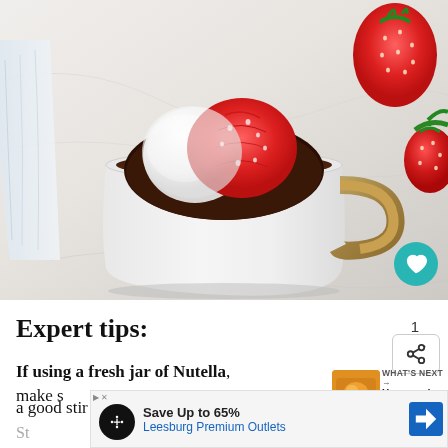[Figure (photo): Overhead view of a white mug with gold handle containing chocolate dessert topped with a scoop of ice cream and sliced strawberry, with fresh strawberries on marble surface beside it]
Expert tips:
If using a fresh jar of Nutella, make sure to give it a good stir before using.
WHAT'S NEXT → Homemade Air Fryer Chicke...
Save Up to 65% Leesburg Premium Outlets